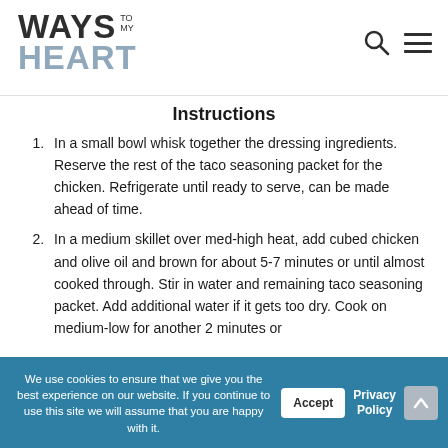WAYS TO MY HEART
Instructions
In a small bowl whisk together the dressing ingredients. Reserve the rest of the taco seasoning packet for the chicken. Refrigerate until ready to serve, can be made ahead of time.
In a medium skillet over med-high heat, add cubed chicken and olive oil and brown for about 5-7 minutes or until almost cooked through. Stir in water and remaining taco seasoning packet. Add additional water if it gets too dry. Cook on medium-low for another 2 minutes or
We use cookies to ensure that we give you the best experience on our website. If you continue to use this site we will assume that you are happy with it.